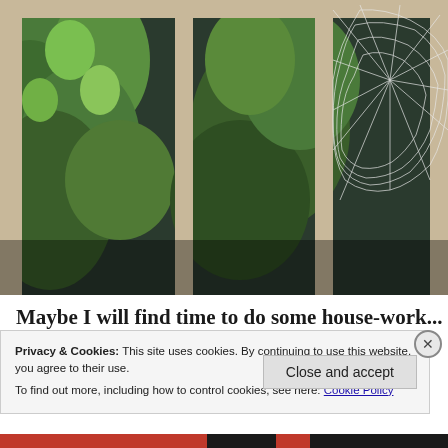[Figure (photo): A photograph of a window with wooden frames and a large spider web visible on the right side. Green foliage is visible through the window panes.]
Maybe I will find time to do some house-work...
Privacy & Cookies: This site uses cookies. By continuing to use this website, you agree to their use.
To find out more, including how to control cookies, see here: Cookie Policy
Close and accept